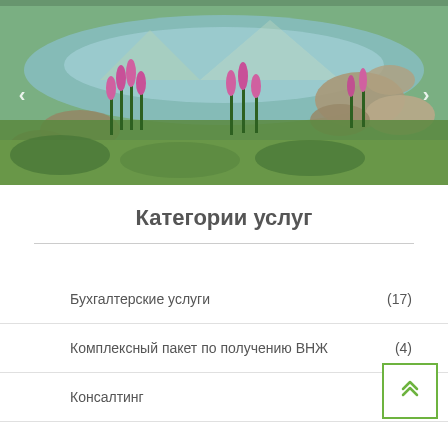[Figure (photo): Landscape photo of an alpine meadow with pink wildflowers in the foreground, a reflective mountain lake in the middle, and rocky terrain in the background]
Категории услуг
Бухгалтерские услуги (17)
Комплексный пакет по получению ВНЖ (4)
Консалтинг (10)